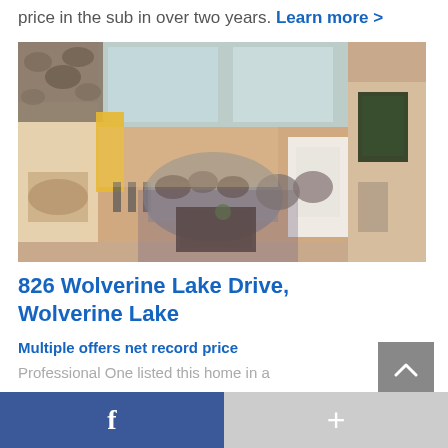price in the sub in over two years. Learn more >
[Figure (photo): Aerial/top-down interior photo of a luxury home living room with high ceilings, large windows, sectional sofa, dining area, and hardwood floors.]
826 Wolverine Lake Drive, Wolverine Lake
Multiple offers net record price
Professional One listed this home in a
Facebook share button and + button